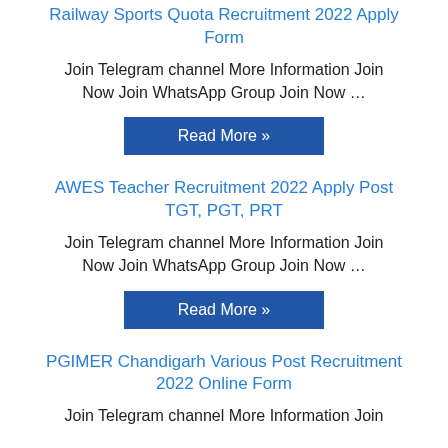Railway Sports Quota Recruitment 2022 Apply Form
Join Telegram channel More Information Join Now Join WhatsApp Group Join Now …
Read More »
AWES Teacher Recruitment 2022 Apply Post TGT, PGT, PRT
Join Telegram channel More Information Join Now Join WhatsApp Group Join Now …
Read More »
PGIMER Chandigarh Various Post Recruitment 2022 Online Form
Join Telegram channel More Information Join